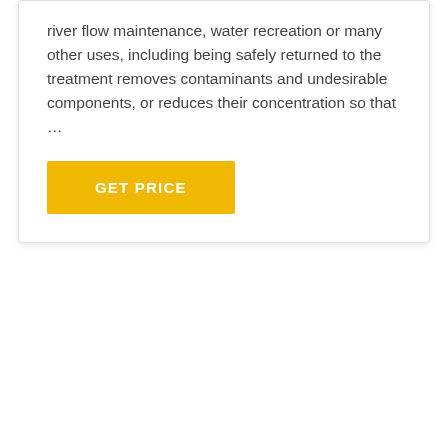river flow maintenance, water recreation or many other uses, including being safely returned to the treatment removes contaminants and undesirable components, or reduces their concentration so that ...
GET PRICE